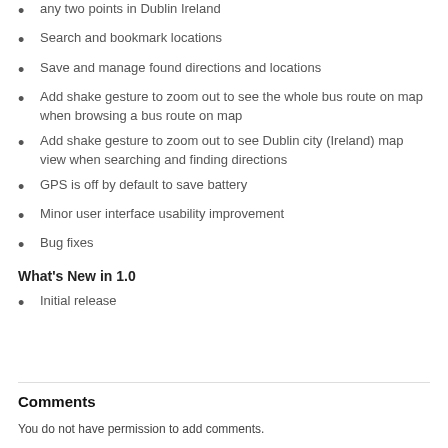any two points in Dublin Ireland
Search and bookmark locations
Save and manage found directions and locations
Add shake gesture to zoom out to see the whole bus route on map when browsing a bus route on map
Add shake gesture to zoom out to see Dublin city (Ireland) map view when searching and finding directions
GPS is off by default to save battery
Minor user interface usability improvement
Bug fixes
What's New in 1.0
Initial release
Comments
You do not have permission to add comments.